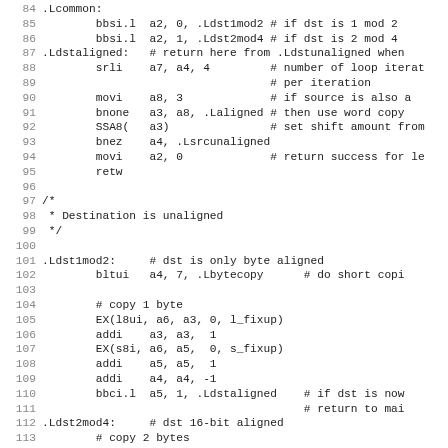[Figure (screenshot): Assembly/C source code listing with line numbers 84-115, showing memory copy routine with labels .Lcommon, .Ldstaligned, .Ldst1mod2, .Ldst2mod4 and instructions like bbsi.l, srli, movi, bnone, SSA8, bnez, retw, bltui, EX, addi, bbci.l]